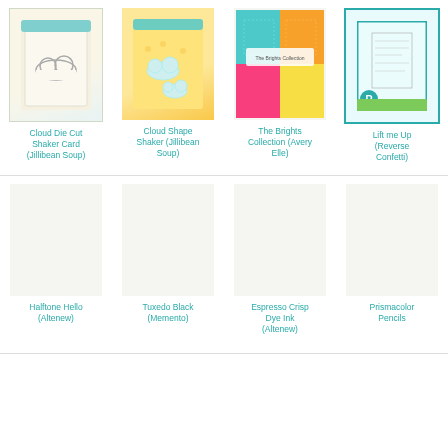[Figure (photo): Cloud Die Cut Shaker Card product image (Jillibean Soup)]
Cloud Die Cut Shaker Card (Jillibean Soup)
[Figure (photo): Cloud Shape Shaker product image (Jillibean Soup)]
Cloud Shape Shaker (Jillibean Soup)
[Figure (photo): The Brights Collection product image (Avery Elle)]
The Brights Collection (Avery Elle)
[Figure (photo): Lift me Up (Reverse Confetti) product image]
Lift me Up (Reverse Confetti)
[Figure (photo): Halftone Hello product image (Altenew)]
Halftone Hello (Altenew)
[Figure (photo): Tuxedo Black Memento ink product image]
Tuxedo Black (Memento)
[Figure (photo): Espresso Crisp Dye Ink product image (Altenew)]
Espresso Crisp Dye Ink (Altenew)
[Figure (photo): Prismacolor Pencils product image]
Prismacolor Pencils